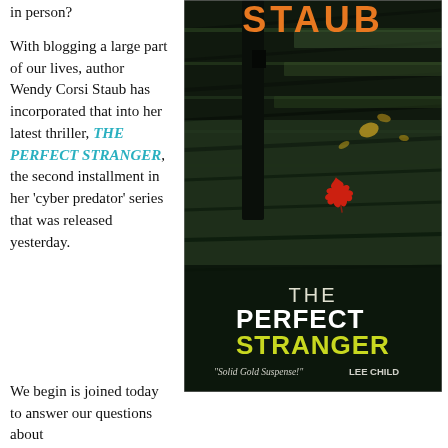in person?
With blogging a large part of our lives, author Wendy Corsi Staub has incorporated that into her latest thriller, THE PERFECT STRANGER, the second installment in her 'cyber predator' series that was released yesterday.
[Figure (photo): Book cover of 'The Perfect Stranger' by Wendy Corsi Staub, showing dark rainy steps with a red maple leaf, orange author name at top, white and yellow-green title at bottom, with quote 'Solid Gold Suspense!' from Lee Child.]
We begin is joined today to answer our questions about